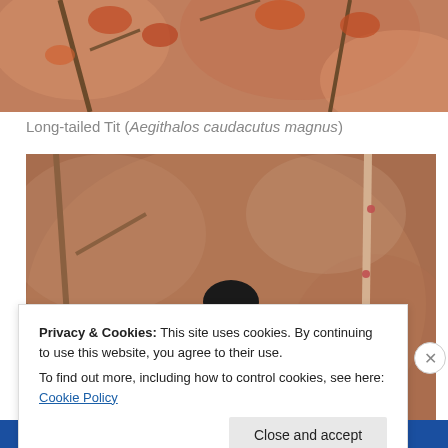[Figure (photo): Top portion of a bird photo showing branches with reddish-brown autumn leaves background, cropped — only the upper portion visible]
Long-tailed Tit (Aegithalos caudacutus magnus)
[Figure (photo): A small bird with black cap, white cheeks, orange-rufous breast and grey-blue wings perched on a bare branch with small red buds, set against a warm blurred brownish background]
Privacy & Cookies: This site uses cookies. By continuing to use this website, you agree to their use.
To find out more, including how to control cookies, see here: Cookie Policy
Close and accept